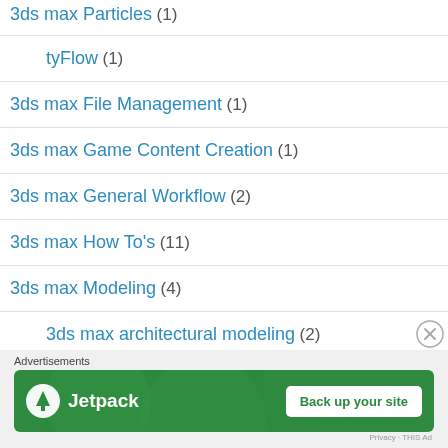3ds max Particles (1)
tyFlow (1)
3ds max File Management (1)
3ds max Game Content Creation (1)
3ds max General Workflow (2)
3ds max How To's (11)
3ds max Modeling (4)
3ds max architectural modeling (2)
Advertisements
[Figure (other): Jetpack advertisement banner with 'Back up your site' button]